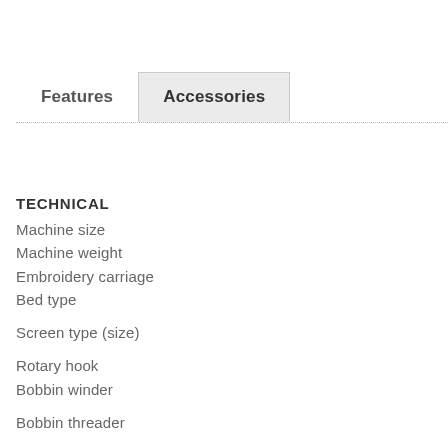Features
Accessories
TECHNICAL
Machine size
Machine weight
Embroidery carriage
Bed type
Screen type (size)
Rotary hook
Bobbin winder
Bobbin threader